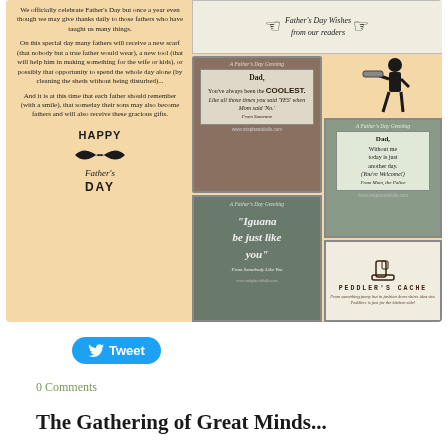[Figure (illustration): Father's Day blog post collage with text on left and greeting card images on right, on a tan/peach background. Left column contains text about Father's Day celebrations and a 'Happy Father's Day' graphic with mustache. Right side shows multiple Father's Day greeting cards including 'Dad, You've always been the COOLEST', 'Iguana be just like you', 'Dad, Without me today is just another day (You're Welcome!)', and a Peddler's Cache advertisement.]
[Figure (screenshot): A Twitter Tweet button (blue rounded rectangle with bird icon and 'Tweet' text)]
0 Comments
The Gathering of Great Minds...